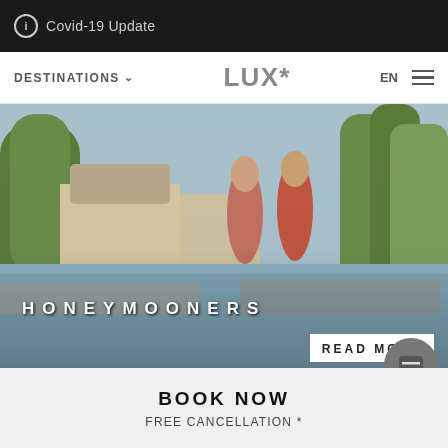ⓘ Covid-19 Update
[Figure (screenshot): Navigation bar with DESTINATIONS dropdown, LUX* logo, EN language selector and hamburger menu]
[Figure (photo): Hero image of couple running near resort pool with palm trees. Text overlay: HONEYMOONERS. READ MORE button in bottom right.]
[Figure (photo): Partial image of couple laughing under trees]
BOOK NOW
FREE CANCELLATION *